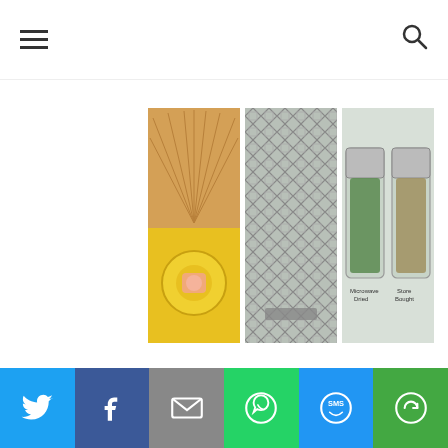Navigation menu and search icon
[Figure (photo): Three photo thumbnails in a row: a wooden fan/hat and yellow crochet item, a decorative metal lattice screen, and two spice jars labeled Microwave Dried and Store Bought]
@cnhartman2
[Figure (logo): Syndicated on BlogHer.com badge with small image icon and red italic text]
[Figure (screenshot): Partial image showing SOCIAL MEDIA text with sunburst design in a bordered box]
[Figure (infographic): Social media share bar with Twitter, Facebook, Email, WhatsApp, SMS, and More buttons in colored sections]